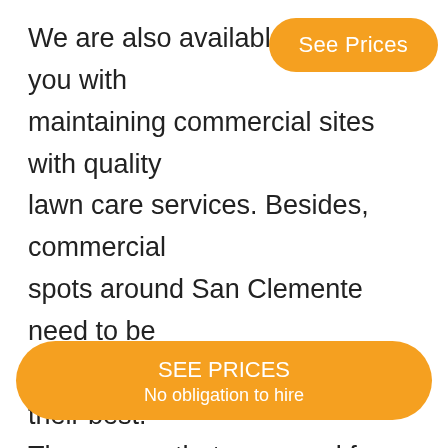We are also available to help you with maintaining commercial sites with quality lawn care services. Besides, commercial spots around San Clemente need to be maintained well enough to look their best. The spaces that are cared for the right way will look more attractive than other sites, thus making them more appealing to customers. Our team at Acunas Land Scape will help you see what can be done to make your commercial property look right. We ca centers and public road islands in El
[Figure (other): Orange rounded button with text 'See Prices' in top-right area]
[Figure (other): Orange rounded button with text 'SEE PRICES' and sub-text 'No obligation to hire' at bottom center]